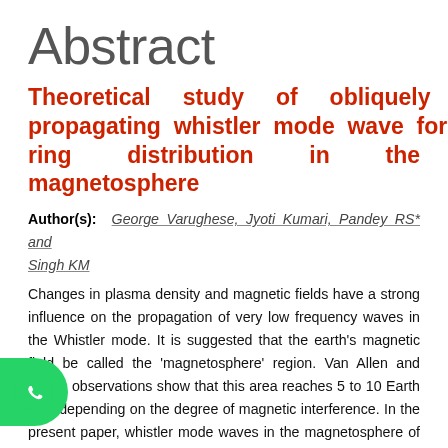Abstract
Theoretical study of obliquely propagating whistler mode wave for ring distribution in the magnetosphere
Author(s): George Varughese, Jyoti Kumari, Pandey RS* and Singh KM
Changes in plasma density and magnetic fields have a strong influence on the propagation of very low frequency waves in the Whistler mode. It is suggested that the earth’s magnetic field be called the ‘magnetosphere’ region. Van Allen and others observations show that this area reaches 5 to 10 Earth radii depending on the degree of magnetic interference. In the present paper, whistler mode waves in the magnetosphere of Earth have been investigated. For whistler mode waves, linear properties of ring distribution function are used to derive the dispersion relation. Method of characteristics by the kinetic approach has been used to investigate whistler waves. The present analysis